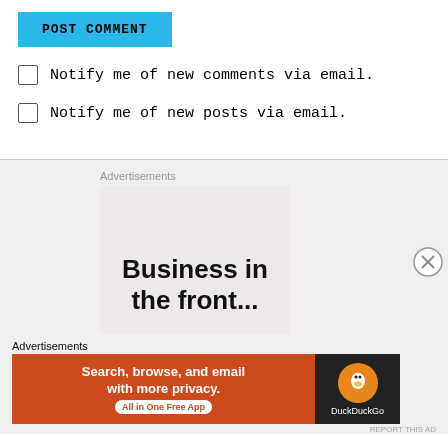POST COMMENT
Notify me of new comments via email.
Notify me of new posts via email.
Advertisements
[Figure (other): Advertisement box with text 'Business in the front...']
Advertisements
[Figure (other): DuckDuckGo banner ad: Search, browse, and email with more privacy. All in One Free App]